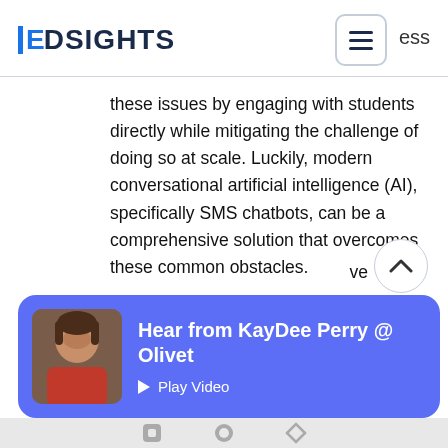EDSIGHTS
these issues by engaging with students directly while mitigating the challenge of doing so at scale. Luckily, modern conversational artificial intelligence (AI), specifically SMS chatbots, can be a comprehensive solution that overcomes these common obstacles.
Here's everything you need to know about how chatbots can help
[Figure (screenshot): Video card overlay with blue background showing a photo of KayDee Perry and text 'Hear from KayDee Perry @ Olivet' with a Play Video button]
[Figure (screenshot): Scroll-up circular button with caret/chevron pointing up]